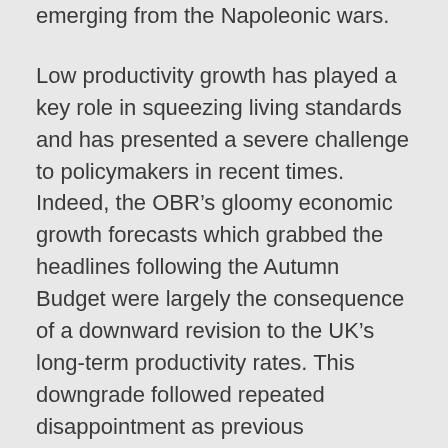emerging from the Napoleonic wars.
Low productivity growth has played a key role in squeezing living standards and has presented a severe challenge to policymakers in recent times. Indeed, the OBR’s gloomy economic growth forecasts which grabbed the headlines following the Autumn Budget were largely the consequence of a downward revision to the UK’s long-term productivity rates. This downgrade followed repeated disappointment as previous expectations of a pick-up in productivity failed to materialise.
While the recent growth in productivity certainly provides some encouragement, policymakers are likely to need to see considerable further productivity growth before they can breathe a sigh of relief.